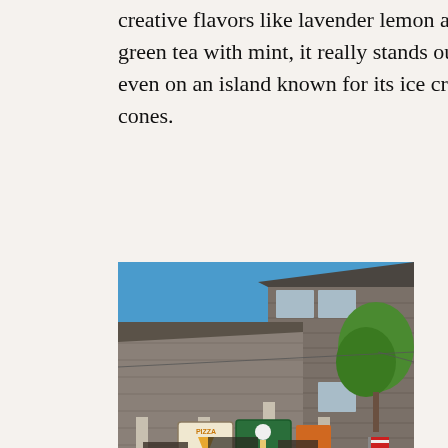creative flavors like lavender lemon and green tea with mint, it really stands out even on an island known for its ice cream cones.
[Figure (photo): Street-level photo of a small commercial block with cedar shingle buildings. Signs visible include a pizza sign and an ice cream shop sign. Blue sky and green trees in background.]
Our day had gotten a tad off track what with the impulsive airplane rides and all, so we rushed back to Oak Bluffs for a sunset yoga class in Ocean Park.